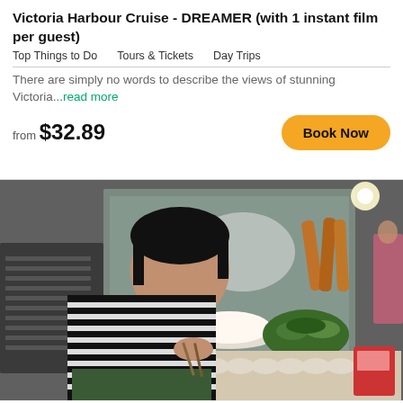Victoria Harbour Cruise - DREAMER (with 1 instant film per guest)
Top Things to Do    Tours & Tickets    Day Trips
There are simply no words to describe the views of stunning Victoria...read more
from $32.89
[Figure (photo): A woman in a striped shirt making dumplings at a street food stall, with various food items visible on the counter and in the background]
Private Kowloon Michelin Star Street Food & Culture Tour
17 reviews
Taking of to...